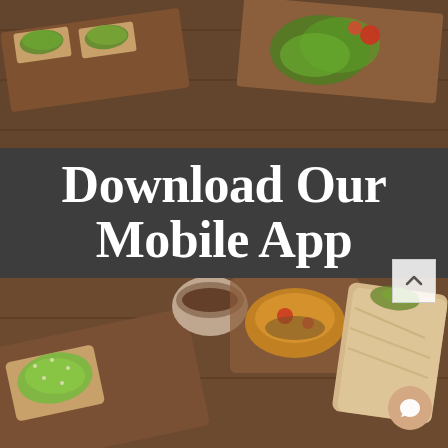[Figure (photo): Top-view food photo showing bruschetta/open-faced sandwiches with greens and toppings on wooden boards]
Download Our Mobile App
Skip the line and receive a free drink, all with one click
Available for Coffee & Brunch
8am-2:15pm only
Click Here
[Figure (photo): Bottom food photos showing wraps, sandwiches, avocado toast and brunch items on wooden boards]